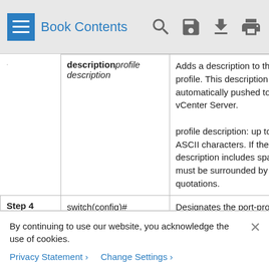Book Contents
|  | Command | Purpose |
| --- | --- | --- |
|  | descriptionprofile description | Adds a description to the port profile. This description is automatically pushed to the vCenter Server.
profile description: up to 80 ASCII characters. If the description includes spaces, it must be surrounded by quotations. |
| Step 4 | switch(config)# vmware port-groupname | Designates the port-profile as a VMware port group. The port profile is mapped to a VMware port group of the same name. |
By continuing to use our website, you acknowledge the use of cookies.
Privacy Statement ›   Change Settings ›